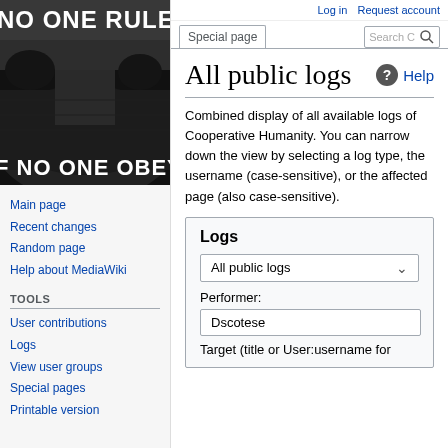[Figure (photo): Black and white photo of a large crowd at a rally with text 'NO ONE RULES' and 'IF NO ONE OBEY' overlaid]
Main page
Recent changes
Random page
Help about MediaWiki
Tools
User contributions
Logs
View user groups
Special pages
Printable version
Log in   Request account
All public logs
Combined display of all available logs of Cooperative Humanity. You can narrow down the view by selecting a log type, the username (case-sensitive), or the affected page (also case-sensitive).
Logs
All public logs
Performer:
Dscotese
Target (title or User:username for